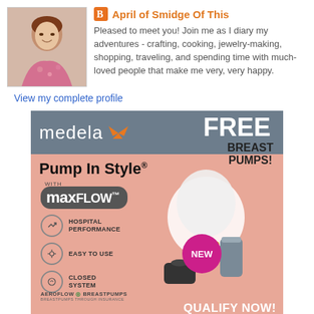[Figure (photo): Profile photo of April, a woman wearing a floral top, smiling]
April of Smidge Of This
Pleased to meet you! Join me as I diary my adventures - crafting, cooking, jewelry-making, shopping, traveling, and spending time with much-loved people that make me very, very happy.
View my complete profile
[Figure (photo): Medela Pump In Style with maxFLOW advertisement. Free Breast Pumps. Hospital Performance, Easy to Use, Closed System features. Aeroflow Breastpumps. NEW badge. QUALIFY NOW! button.]
Powered by Blogger.